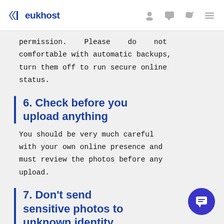eukhost
permission. Please do not comfortable with automatic backups, turn them off to run secure online status.
6. Check before you upload anything
You should be very much careful with your own online presence and must review the photos before any upload.
7. Don't send sensitive photos to unknown identity